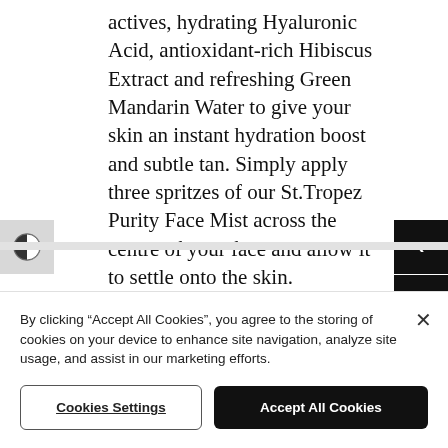actives, hydrating Hyaluronic Acid, antioxidant-rich Hibiscus Extract and refreshing Green Mandarin Water to give your skin an instant hydration boost and subtle tan. Simply apply three spritzes of our St.Tropez Purity Face Mist across the centre of your face and allow it to settle onto the skin.
Top Tip: You can
By clicking “Accept All Cookies”, you agree to the storing of cookies on your device to enhance site navigation, analyze site usage, and assist in our marketing efforts.
Cookies Settings
Accept All Cookies